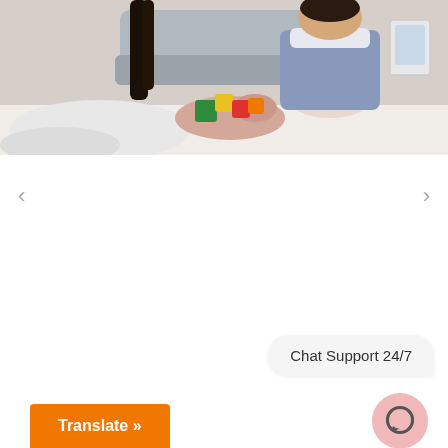[Figure (photo): A woman and a young girl playing with colorful wooden building blocks at a table indoors. The woman's hand reaches toward the blocks. The child wears a denim jumper and holds a small block. A grey sofa and a tablet device are visible in the blurred background.]
[Figure (other): Carousel navigation arrows (left and right chevrons) on a white background below the photo.]
Chat Support 24/7
[Figure (other): Pink circular chat bubble icon button for chat support.]
Translate »